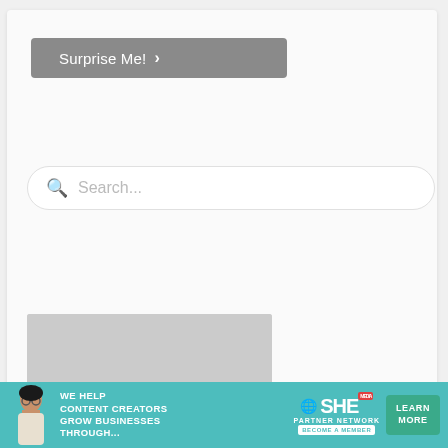[Figure (screenshot): A 'Surprise Me!' button with right-pointing chevron, grey background, white text]
[Figure (screenshot): Search bar with magnifying glass icon and 'Search...' placeholder text, rounded rectangular input field]
[Figure (photo): Photo of a woman with dark hair looking at camera, against a light grey background]
[Figure (screenshot): Close (X) button in the right side]
[Figure (infographic): Advertisement banner: 'WE HELP CONTENT CREATORS GROW BUSINESSES THROUGH...' with SHE Partner Network logo and 'LEARN MORE' button, teal background]